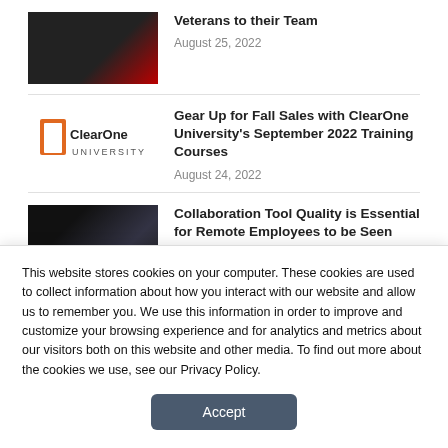Veterans to their Team
August 25, 2022
Gear Up for Fall Sales with ClearOne University's September 2022 Training Courses
August 24, 2022
Collaboration Tool Quality is Essential for Remote Employees to be Seen and Heard
This website stores cookies on your computer. These cookies are used to collect information about how you interact with our website and allow us to remember you. We use this information in order to improve and customize your browsing experience and for analytics and metrics about our visitors both on this website and other media. To find out more about the cookies we use, see our Privacy Policy.
Accept